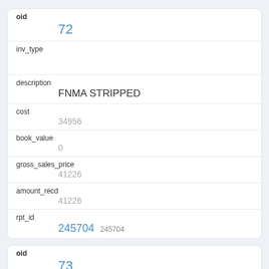| field | value |
| --- | --- |
| oid | 72 |
| inv_type |  |
| description | FNMA STRIPPED |
| cost | 34956 |
| book_value | 0 |
| gross_sales_price | 41226 |
| amount_recd | 41226 |
| rpt_id | 245704  245704 |
| field | value |
| --- | --- |
| oid | 73 |